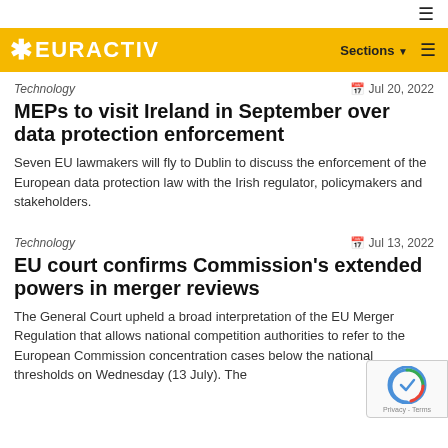EURACTIV — Sections ☰
Technology — Jul 20, 2022
MEPs to visit Ireland in September over data protection enforcement
Seven EU lawmakers will fly to Dublin to discuss the enforcement of the European data protection law with the Irish regulator, policymakers and stakeholders.
Technology — Jul 13, 2022
EU court confirms Commission's extended powers in merger reviews
The General Court upheld a broad interpretation of the EU Merger Regulation that allows national competition authorities to refer to the European Commission concentration cases below the national thresholds on Wednesday (13 July). The